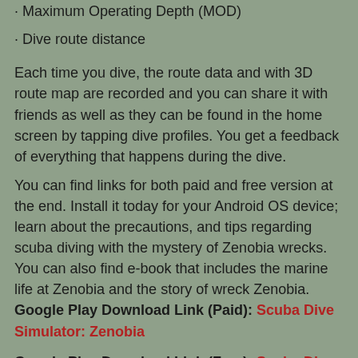· Maximum Operating Depth (MOD)
· Dive route distance
Each time you dive, the route data and with 3D route map are recorded and you can share it with friends as well as they can be found in the home screen by tapping dive profiles. You get a feedback of everything that happens during the dive.
You can find links for both paid and free version at the end. Install it today for your Android OS device; learn about the precautions, and tips regarding scuba diving with the mystery of Zenobia wrecks. You can also find e-book that includes the marine life at Zenobia and the story of wreck Zenobia.
Google Play Download Link (Paid): Scuba Dive Simulator: Zenobia
Google Play Download Link (Free): Scuba Dive Simulator: Zenobia
Stefan  January 09, 2017